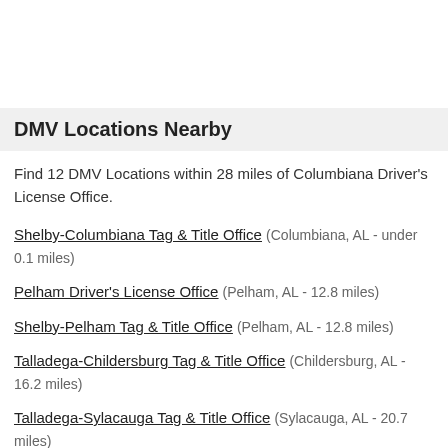DMV Locations Nearby
Find 12 DMV Locations within 28 miles of Columbiana Driver's License Office.
Shelby-Columbiana Tag & Title Office (Columbiana, AL - under 0.1 miles)
Pelham Driver's License Office (Pelham, AL - 12.8 miles)
Shelby-Pelham Tag & Title Office (Pelham, AL - 12.8 miles)
Talladega-Childersburg Tag & Title Office (Childersburg, AL - 16.2 miles)
Talladega-Sylacauga Tag & Title Office (Sylacauga, AL - 20.7 miles)
Chilton County Tag & Title Office (Clanton, AL - 23.6 miles)